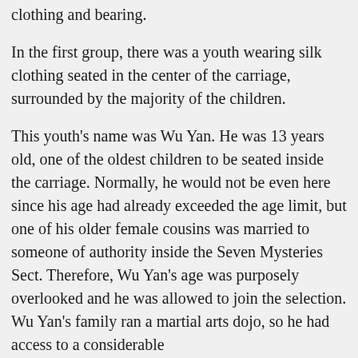clothing and bearing.
In the first group, there was a youth wearing silk clothing seated in the center of the carriage, surrounded by the majority of the children.
This youth's name was Wu Yan. He was 13 years old, one of the oldest children to be seated inside the carriage. Normally, he would not be even here since his age had already exceeded the age limit, but one of his older female cousins was married to someone of authority inside the Seven Mysteries Sect. Therefore, Wu Yan's age was purposely overlooked and he was allowed to join the selection. Wu Yan's family ran a martial arts dojo, so he had access to a considerable amount of wealth. For more reasons than that, he was tipping...